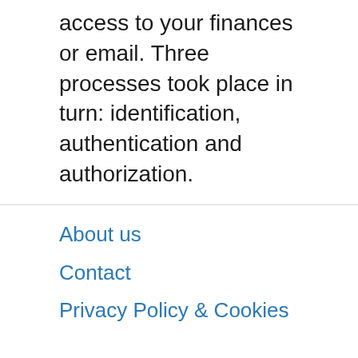access to your finances or email. Three processes took place in turn: identification, authentication and authorization.
About us
Contact
Privacy Policy & Cookies
ATTENTION TO RIGHT HOLDERS! All materials are posted on the site strictly for informational and educational purposes! If you believe that the posting of any material infringes your copyright, be sure to contact us through the contact form and your material will be removed!